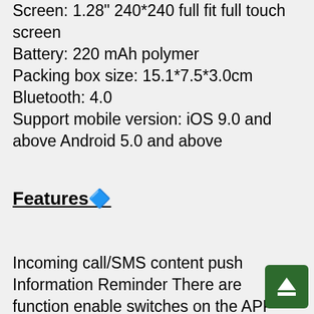Screen: 1.28" 240*240 full fit full touch screen
Battery: 220 mAh polymer
Packing box size: 15.1*7.5*3.0cm
Bluetooth: 4.0
Support mobile version: iOS 9.0 and above Android 5.0 and above
Features🔷
Incoming call/SMS content push
Information Reminder There are function enable switches on the APP side (incoming
[Figure (other): Green square button icon with upward triangle/eject symbol in white]